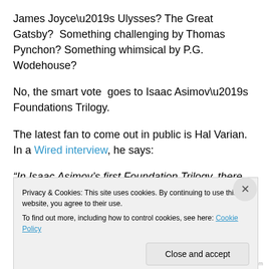James Joyce’s Ulysses? The Great Gatsby?  Something challenging by Thomas Pynchon? Something whimsical by P.G. Wodehouse?
No, the smart vote  goes to Isaac Asimov’s Foundations Trilogy.
The latest fan to come out in public is Hal Varian.  In a Wired interview, he says:
“In Isaac Asimov’s first Foundation Trilogy, there was a character who basically constructed mathematical models
Privacy & Cookies: This site uses cookies. By continuing to use this website, you agree to their use.
To find out more, including how to control cookies, see here: Cookie Policy